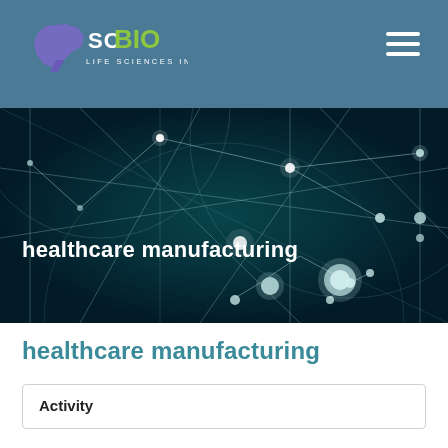[Figure (logo): SCBIO Life Sciences Industry logo with purple state of South Carolina silhouette, green BIO text, and white SC text and tagline on teal header background]
[Figure (photo): Dark teal network/molecular connections background image with glowing nodes and connecting lines]
healthcare manufacturing
healthcare manufacturing
Activity